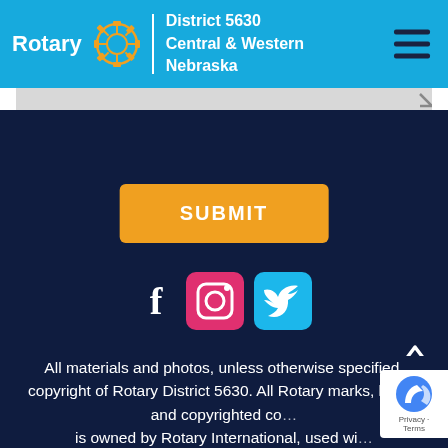[Figure (logo): Rotary District 5630 Central & Western Nebraska header with logo, gear icon, district text, and hamburger menu on cyan background]
[Figure (screenshot): Gray form input area partially visible at top of dark blue section]
SUBMIT
[Figure (infographic): Social media icons row: Facebook (f), Instagram (camera icon on pink), Twitter (bird on blue)]
All materials and photos, unless otherwise specified, copyright of Rotary District 5630. All Rotary marks, logos, and copyrighted co... is owned by Rotary International, used wi...